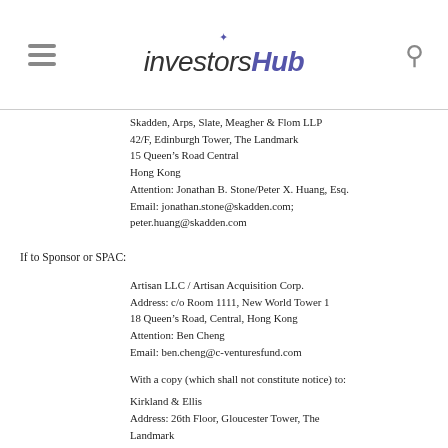InvestorsHub
Skadden, Arps, Slate, Meagher & Flom LLP
42/F, Edinburgh Tower, The Landmark
15 Queen's Road Central
Hong Kong
Attention: Jonathan B. Stone/Peter X. Huang, Esq.
Email: jonathan.stone@skadden.com; peter.huang@skadden.com
If to Sponsor or SPAC:
Artisan LLC / Artisan Acquisition Corp.
Address: c/o Room 1111, New World Tower 1
18 Queen's Road, Central, Hong Kong
Attention: Ben Cheng
Email: ben.cheng@c-venturesfund.com
With a copy (which shall not constitute notice) to:
Kirkland & Ellis
Address: 26th Floor, Gloucester Tower, The Landmark
15 Queen's Road Central, Hong Kong
Attention: Jesse Sheley; Joseph Raymond Casey; Ram Narayan